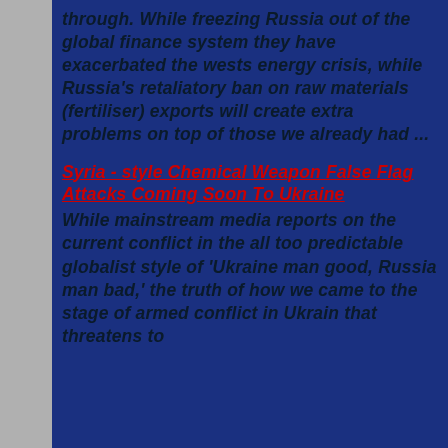through. While freezing Russia out of the global finance system they have exacerbated the wests energy crisis, while Russia's retaliatory ban on raw materials (fertiliser) exports will create extra problems on top of those we already had ...
Syria - style Chemical Weapon False Flag Attacks Coming Soon To Ukraine
While mainstream media reports on the current conflict in the all too predictable globalist style of 'Ukraine man good, Russia man bad,' the truth of how we came to the stage of armed conflict in Ukrain that threatens to